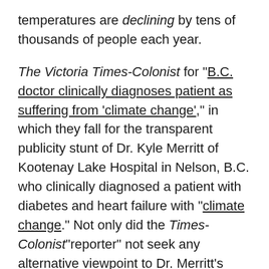temperatures are declining by tens of thousands of people each year.
The Victoria Times-Colonist for "B.C. doctor clinically diagnoses patient as suffering from 'climate change'," in which they fall for the transparent publicity stunt of Dr. Kyle Merritt of Kootenay Lake Hospital in Nelson, B.C. who clinically diagnosed a patient with diabetes and heart failure with "climate change." Not only did the Times-Colonist"reporter" not seek any alternative viewpoint to Dr. Merritt's nonsensical no diagnosis, it neglected to inform its readers